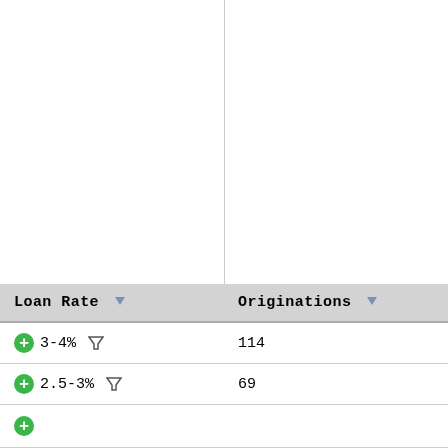| Loan Rate | Originations |
| --- | --- |
| 3-4% | 114 |
| 2.5-3% | 69 |